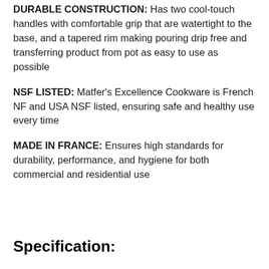DURABLE CONSTRUCTION: Has two cool-touch handles with comfortable grip that are watertight to the base, and a tapered rim making pouring drip free and transferring product from pot as easy to use as possible
NSF LISTED: Matfer's Excellence Cookware is French NF and USA NSF listed, ensuring safe and healthy use every time
MADE IN FRANCE: Ensures high standards for durability, performance, and hygiene for both commercial and residential use
Specification: